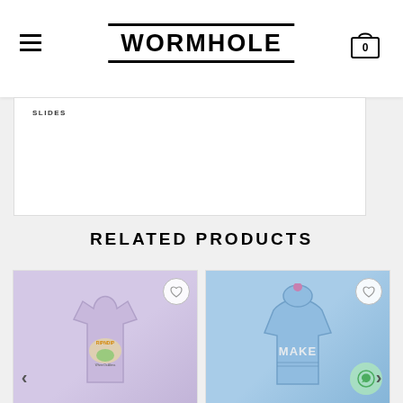WORMHOLE
SLIDES
RELATED PRODUCTS
[Figure (photo): RIPNDIP branded lavender long sleeve shirt with graphic print on the back]
[Figure (photo): Blue hoodie with colorful graphic print reading MAKE on the front]